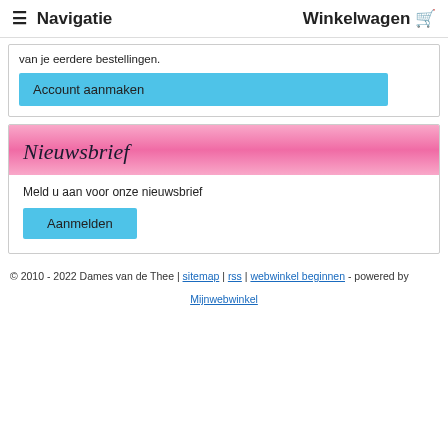≡ Navigatie    Winkelwagen 🛒
van je eerdere bestellingen.
Account aanmaken
Nieuwsbrief
Meld u aan voor onze nieuwsbrief
Aanmelden
© 2010 - 2022 Dames van de Thee | sitemap | rss | webwinkel beginnen - powered by Mijnwebwinkel